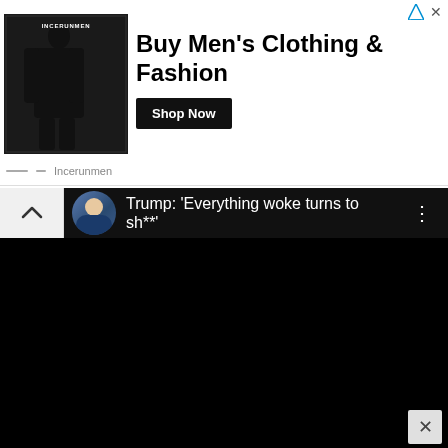[Figure (screenshot): Advertisement banner for Incerunmen men's clothing. Shows a person in black clothing with the Incerunmen logo, headline 'Buy Men's Clothing & Fashion', a 'Shop Now' button, and the advertiser name 'Incerunmen' at the bottom. Top-right has a play/ad icon and close X.]
[Figure (screenshot): YouTube video mini-player panel with black background. Top bar has a white collapse button with chevron, then dark bar with circular avatar of a man in suit, video title 'Trump: Everything woke turns to sh**' in white text, and a vertical three-dot menu. Below is a fully black video area.]
[Figure (screenshot): Bottom portion of the page showing a white/light grey area with an X close button in the bottom-right corner.]